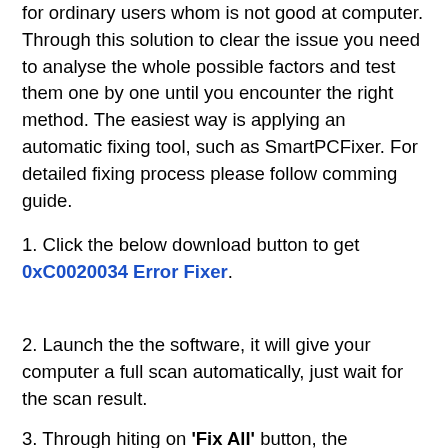for ordinary users whom is not good at computer. Through this solution to clear the issue you need to analyse the whole possible factors and test them one by one until you encounter the right method. The easiest way is applying an automatic fixing tool, such as SmartPCFixer. For detailed fixing process please follow comming guide.
1. Click the below download button to get 0xC0020034 Error Fixer.
2. Launch the the software, it will give your computer a full scan automatically, just wait for the scan result.
3. Through hiting on 'Fix All' button, the 0xC0020034 error